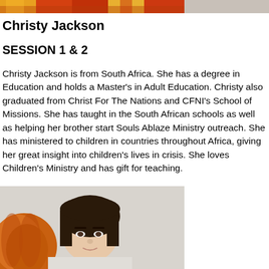[Figure (photo): Top portion of a photo showing colorful items, partially cropped at top of page]
Christy Jackson
SESSION 1 & 2
Christy Jackson is from South Africa. She has a degree in Education and holds a Master's in Adult Education. Christy also graduated from Christ For The Nations and CFNI's School of Missions. She has taught in the South African schools as well as helping her brother start Souls Ablaze Ministry outreach. She has ministered to children in countries throughout Africa, giving her great insight into children's lives in crisis. She loves Children's Ministry and has gift for teaching.
[Figure (photo): Portrait photo of a woman with dark hair, partially visible at bottom of page]